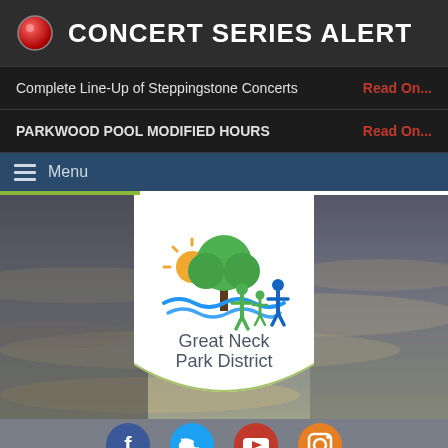CONCERT SERIES ALERT
Complete Line-Up of Steppingstone Concerts   Read On...
PARKWOOD POOL MODIFIED HOURS   Read On...
Menu
[Figure (logo): Great Neck Park District logo — green tree, sun rays, blue waves, three human figures — on a white shield-shaped banner with text 'Great Neck Park District']
[Figure (photo): Cloudy sky background photo used as hero image]
[Figure (infographic): Social media icons row: Facebook (blue), Twitter (light blue), YouTube (red), Instagram (orange)]